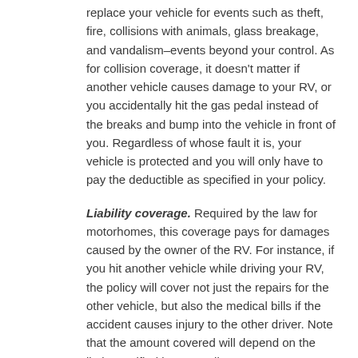replace your vehicle for events such as theft, fire, collisions with animals, glass breakage, and vandalism–events beyond your control. As for collision coverage, it doesn't matter if another vehicle causes damage to your RV, or you accidentally hit the gas pedal instead of the breaks and bump into the vehicle in front of you. Regardless of whose fault it is, your vehicle is protected and you will only have to pay the deductible as specified in your policy.
Liability coverage. Required by the law for motorhomes, this coverage pays for damages caused by the owner of the RV. For instance, if you hit another vehicle while driving your RV, the policy will cover not just the repairs for the other vehicle, but also the medical bills if the accident causes injury to the other driver. Note that the amount covered will depend on the limit specified in your policy.
Uninsured/underinsured motorist coverage (UM/UIM). In a perfect world, every vehicle on the